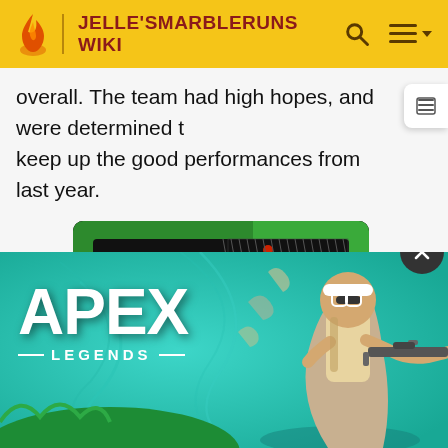JELLE'SMARBLERUNS WIKI
overall. The team had high hopes, and were determined to keep up the good performances from last year.
[Figure (photo): Colorful marbles lined up in the starting gate of a marble run track, with green background visible. Multiple marbles of various colors arranged in a row on a white track with black rails.]
Yellup in the starting gate of the Marble Marathon
Unfortunately, the team's enthusiasm was misplaced. The team started the competition with four bottom half finishes, including a poor showing and in the M... place overall... to win a bronze medal in Event 5, Long Jump, lifting them to 15th
[Figure (advertisement): Apex Legends game advertisement with teal/turquoise background, showing the Apex Legends logo and a game character holding a sniper rifle. Close button (X) in top right corner.]